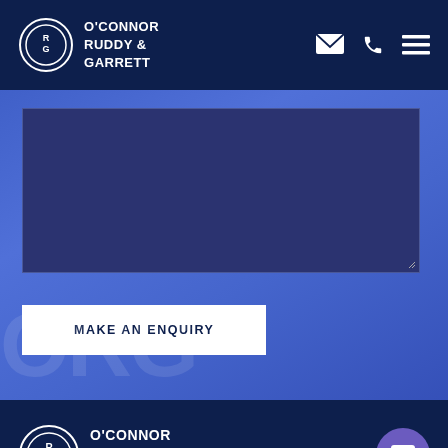O'CONNOR RUDDY & GARRETT
[Figure (screenshot): Textarea input field with dark navy/indigo background, resize handle at bottom right]
[Figure (other): MAKE AN ENQUIRY button - white background with dark navy uppercase text]
O'CONNOR RUDDY & GARRETT